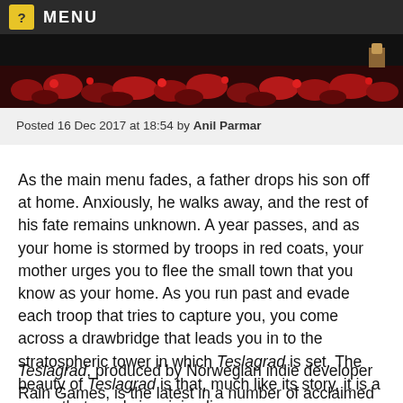? MENU
[Figure (photo): Game screenshot showing characters in red coats among red flowers/scenery]
Posted 16 Dec 2017 at 18:54 by Anil Parmar
As the main menu fades, a father drops his son off at home. Anxiously, he walks away, and the rest of his fate remains unknown. A year passes, and as your home is stormed by troops in red coats, your mother urges you to flee the small town that you know as your home. As you run past and evade each troop that tries to capture you, you come across a drawbridge that leads you in to the stratospheric tower in which Teslagrad is set. The beauty of Teslagrad is that, much like its story, it is a game that revels in minimalism.
Teslagrad, produced by Norwegian indie developer Rain Games, is the latest in a number of acclaimed indie titles